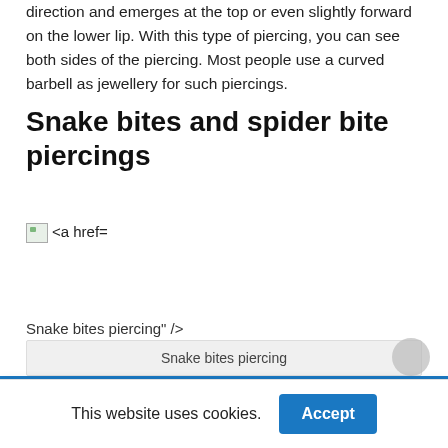direction and emerges at the top or even slightly forward on the lower lip. With this type of piercing, you can see both sides of the piercing. Most people use a curved barbell as jewellery for such piercings.
Snake bites and spider bite piercings
[Figure (other): Broken image placeholder with href attribute text: <a href=]
Snake bites piercing" />
Snake bites piercing
This website uses cookies.